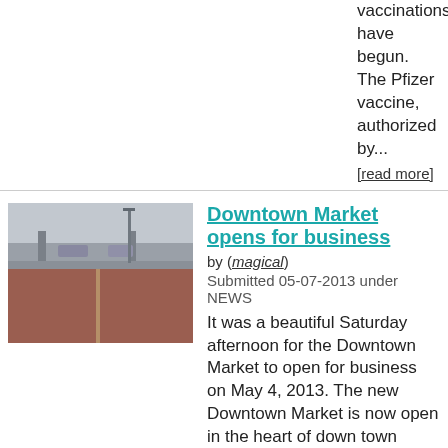vaccinations have begun. The Pfizer vaccine, authorized by...
[read more]
Downtown Market opens for business
by (magical)
Submitted 05-07-2013 under NEWS
It was a beautiful Saturday afternoon for the Downtown Market to open for business on May 4, 2013. The new Downtown Market is now open in the heart of down town Grand Rapids. It is located just south of Heartside Park next to the 131 S-Curve. The...
[read more]
Demonstration To Count The Cost
by (Mike Saunders)